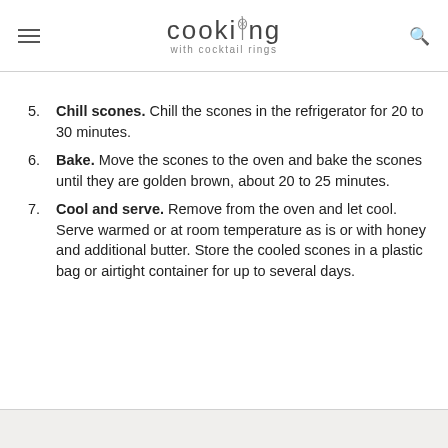cooking with cocktail rings
5. Chill scones. Chill the scones in the refrigerator for 20 to 30 minutes.
6. Bake. Move the scones to the oven and bake the scones until they are golden brown, about 20 to 25 minutes.
7. Cool and serve. Remove from the oven and let cool. Serve warmed or at room temperature as is or with honey and additional butter. Store the cooled scones in a plastic bag or airtight container for up to several days.